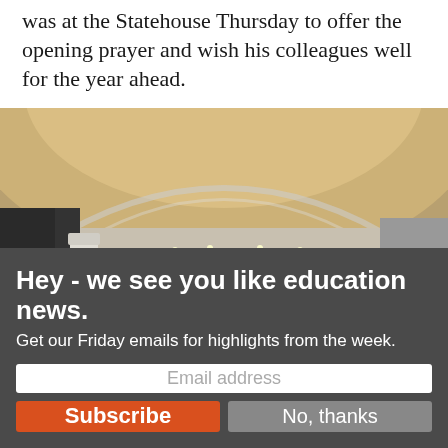was at the Statehouse Thursday to offer the opening prayer and wish his colleagues well for the year ahead.
[Figure (photo): Interior photograph of a statehouse chamber with a large domed ceiling, ornate white columns, curved balcony with railings, and rows of dark seats in the gallery. A few people are visible seated in the gallery area.]
Hey - we see you like education news.
Get our Friday emails for highlights from the week.
Email address
Subscribe
No, thanks